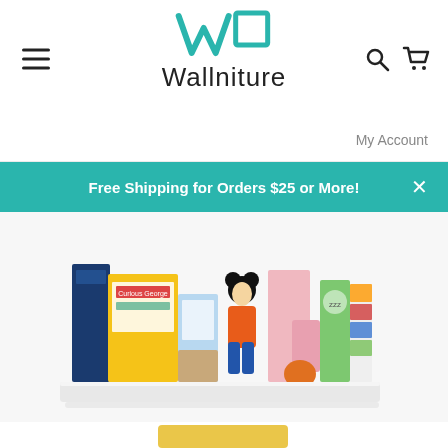[Figure (logo): Wallniture logo with teal geometric mark and dark text wordmark]
My Account
Free Shipping for Orders $25 or More!
[Figure (photo): White floating wall shelf displaying children's books including Curious George, toys including a Mickey Mouse figure, and other colorful books and items]